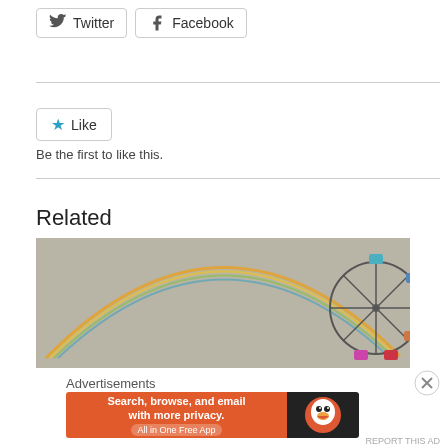[Figure (screenshot): Twitter and Facebook share buttons with bird and 'f' icons, bordered rounded rectangle buttons]
[Figure (screenshot): Like button with blue star icon and text 'Like']
Be the first to like this.
Related
[Figure (photo): A rainbow arching over a grey sky with a Ferris wheel partially visible on the right side]
Advertisements
[Figure (screenshot): DuckDuckGo advertisement banner: orange left side with text 'Search, browse, and email with more privacy. All in One Free App', dark right side with DuckDuckGo duck logo]